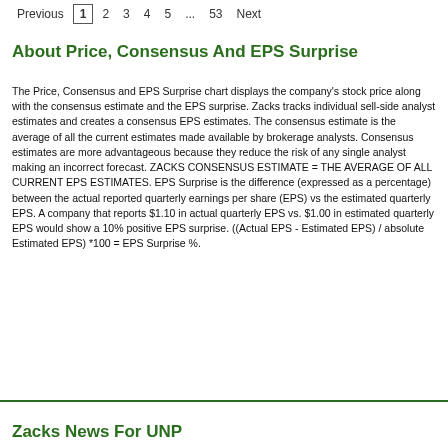Previous 1 2 3 4 5 ... 53 Next
About Price, Consensus And EPS Surprise
The Price, Consensus and EPS Surprise chart displays the company's stock price along with the consensus estimate and the EPS surprise. Zacks tracks individual sell-side analyst estimates and creates a consensus EPS estimates. The consensus estimate is the average of all the current estimates made available by brokerage analysts. Consensus estimates are more advantageous because they reduce the risk of any single analyst making an incorrect forecast. ZACKS CONSENSUS ESTIMATE = THE AVERAGE OF ALL CURRENT EPS ESTIMATES. EPS Surprise is the difference (expressed as a percentage) between the actual reported quarterly earnings per share (EPS) vs the estimated quarterly EPS. A company that reports $1.10 in actual quarterly EPS vs. $1.00 in estimated quarterly EPS would show a 10% positive EPS surprise. ((Actual EPS - Estimated EPS) / absolute Estimated EPS) *100 = EPS Surprise %.
Zacks News For UNP